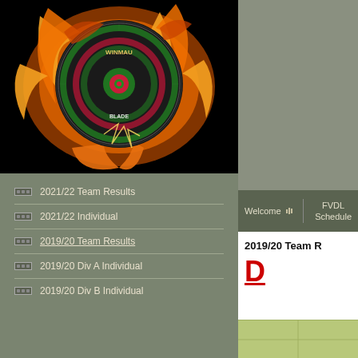[Figure (photo): Dartboard on fire with winmau logo, flaming dartboard on black background]
2021/22 Team Results
2021/22 Individual
2019/20 Team Results
2019/20 Div A Individual
2019/20 Div B Individual
Welcome    FVDL Schedule
2019/20 Team R
D